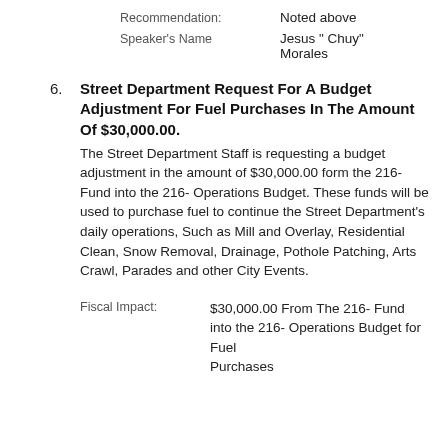Recommendation: Noted above
Speaker's Name: Jesus " Chuy" Morales
6. Street Department Request For A Budget Adjustment For Fuel Purchases In The Amount Of $30,000.00.
The Street Department Staff is requesting a budget adjustment in the amount of $30,000.00 form the 216-Fund into the 216- Operations Budget. These funds will be used to purchase fuel to continue the Street Department's daily operations, Such as Mill and Overlay, Residential Clean, Snow Removal, Drainage, Pothole Patching, Arts Crawl, Parades and other City Events.
Fiscal Impact: $30,000.00 From The 216- Fund into the 216- Operations Budget for Fuel Purchases